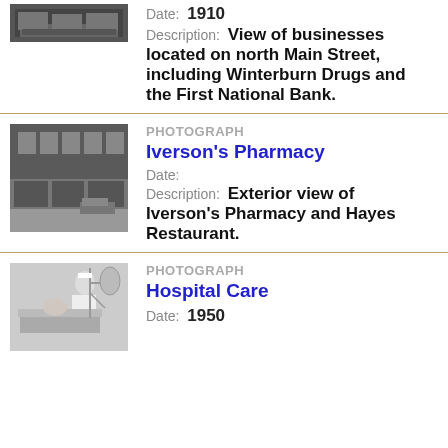[Figure (photo): Historical black and white photograph of north Main Street businesses (partially visible, cropped at top)]
Date: 1910
Description: View of businesses located on north Main Street, including Winterburn Drugs and the First National Bank.
[Figure (photo): Black and white exterior photograph of Iverson's Pharmacy and Hayes Restaurant storefront]
PHOTOGRAPH
Iverson's Pharmacy
Date:
Description: Exterior view of Iverson's Pharmacy and Hayes Restaurant.
[Figure (photo): Black and white photograph of hospital care scene with nurse and patient]
PHOTOGRAPH
Hospital Care
Date: 1950